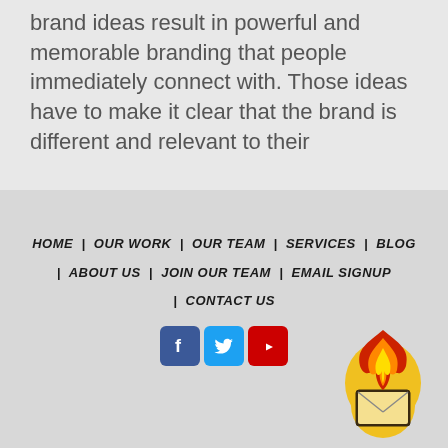brand ideas result in powerful and memorable branding that people immediately connect with. Those ideas have to make it clear that the brand is different and relevant to their
HOME | OUR WORK | OUR TEAM | SERVICES | BLOG | ABOUT US | JOIN OUR TEAM | EMAIL SIGNUP | CONTACT US
[Figure (logo): Social media icons: Facebook (blue), Twitter (light blue), YouTube (red)]
[Figure (illustration): Flame logo with envelope/mail icon in gold circle with red and yellow flame on top]